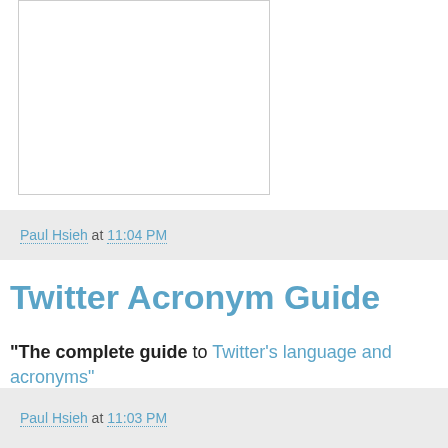[Figure (other): White rectangle with border, appears to be a placeholder image or embedded content area]
Paul Hsieh at 11:04 PM
Twitter Acronym Guide
"The complete guide to Twitter's language and acronyms"
Paul Hsieh at 11:03 PM